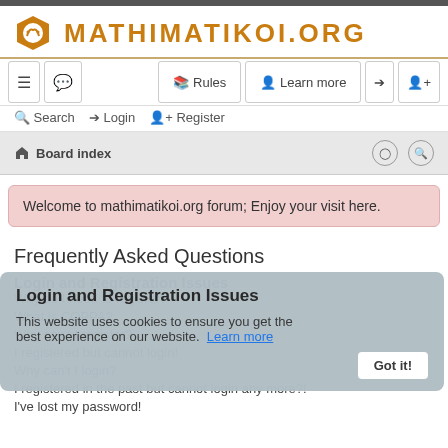MATHIMATIKOI.ORG
Rules  Learn more
Search  Login  Register
Board index
Welcome to mathimatikoi.org forum; Enjoy your visit here.
Frequently Asked Questions
Login and Registration Issues
Why do I need to register?
What is COPPA?
Why can't I register?
I registered but cannot login!
Why can't I login?
I registered in the past but cannot login any more?!
I've lost my password!
This website uses cookies to ensure you get the best experience on our website.  Learn more  Got it!